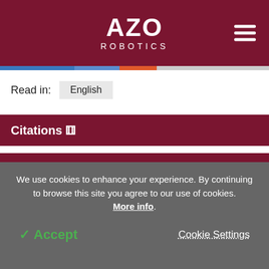AZO ROBOTICS
Read in: English
Citations ⊙
Tell Us What You Think
Do you have a review, update or anything you would like to add to this content?
We use cookies to enhance your experience. By continuing to browse this site you agree to our use of cookies. More info.
✓ Accept   Cookie Settings